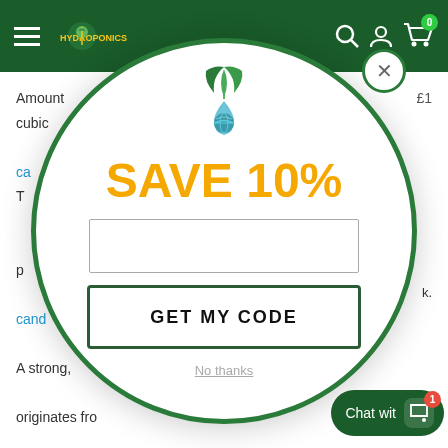[Figure (screenshot): Green e-commerce website header with hamburger menu, logo, search, account, and cart icons]
Amount cubic
cand
T
p
cand
A strong, originates fro blooms.
[Figure (infographic): White circular popup overlay with green border showing a plant/leaf logo with water drop, SAVE 10% text in gold/yellow, an email input field, and a GET MY CODE button]
SAVE 10%
GET MY CODE
No thanks
Chat wit